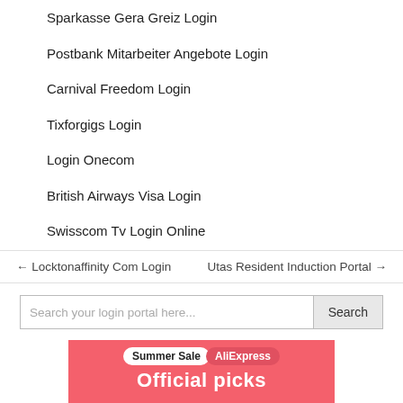Sparkasse Gera Greiz Login
Postbank Mitarbeiter Angebote Login
Carnival Freedom Login
Tixforgigs Login
Login Onecom
British Airways Visa Login
Swisscom Tv Login Online
← Locktonaffinity Com Login   Utas Resident Induction Portal →
Search your login portal here...   Search
[Figure (infographic): AliExpress Summer Sale advertisement banner with pink/red background showing 'Summer Sale' in white pill badge, 'AliExpress' in red pill badge, and 'Official picks' in large white bold text]